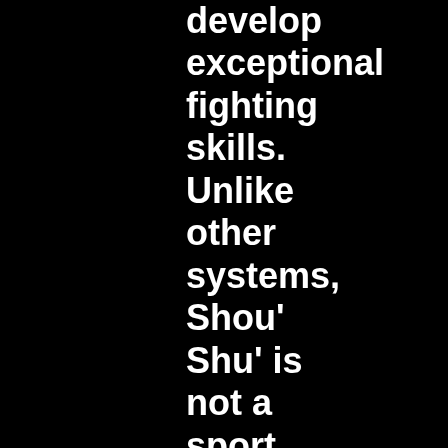develop exceptional fighting skills. Unlike other systems, Shou' Shu' is not a sport martial art. The art encompasses a complete self defense system utilizing joint locks, nerve shots, practical